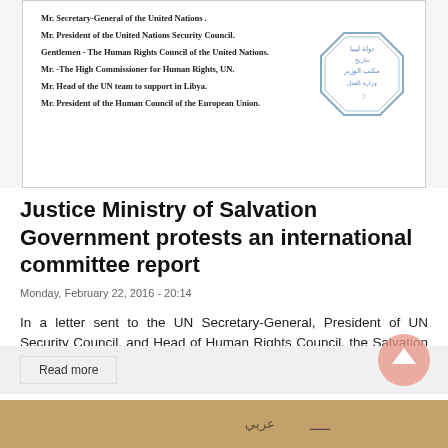[Figure (screenshot): Scanned document excerpt with Arabic official stamp. Text lines list recipients: Mr. Secretary-General of the United Nations, Mr. President of the United Nations Security Council, Gentlemen - The Human Rights Council of the United Nations, Mr. -The High Commissioner for Human Rights UN, Mr. Head of the UN team to support in Libya, Mr. President of the Human Council of the European Union. An octagonal Arabic official stamp visible on the right side.]
Justice Ministry of Salvation Government protests an international committee report
Monday, February 22, 2016 - 20:14
In a letter sent to the UN Secretary-General, President of UN Security Council, and Head of Human Rights Council, the Salvation Government's Justice Ministry has expressed rejection of the biased nature of the committee formed b
Read more
[Figure (photo): Partial photo strip at the bottom of the page with Arabic text overlay, appears to be another article thumbnail.]